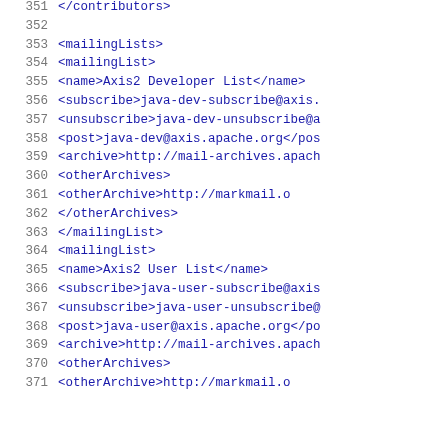351     </contributors>
352
353     <mailingLists>
354         <mailingList>
355             <name>Axis2 Developer List</name>
356             <subscribe>java-dev-subscribe@axis.
357             <unsubscribe>java-dev-unsubscribe@a
358             <post>java-dev@axis.apache.org</pos
359             <archive>http://mail-archives.apach
360             <otherArchives>
361                 <otherArchive>http://markmail.o
362             </otherArchives>
363         </mailingList>
364         <mailingList>
365             <name>Axis2 User List</name>
366             <subscribe>java-user-subscribe@axis
367             <unsubscribe>java-user-unsubscribe@
368             <post>java-user@axis.apache.org</po
369             <archive>http://mail-archives.apach
370             <otherArchives>
371                 <otherArchive>http://markmail.o